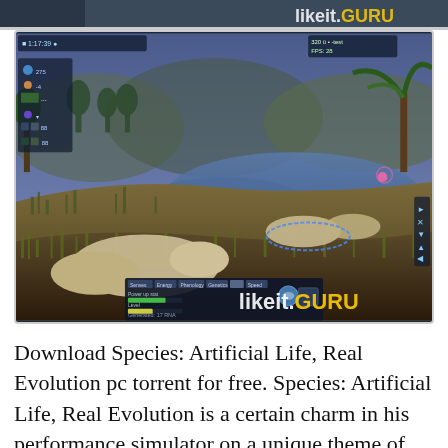[Figure (screenshot): Partial top strip of a game screenshot with likeit.GURU watermark visible]
[Figure (screenshot): Game screenshot of Species: Artificial Life, Real Evolution showing a prehistoric landscape with creatures near water, trees, grass, and HUD interface elements. likeit.GURU watermark visible in bottom right.]
Download Species: Artificial Life, Real Evolution pc torrent for free. Species: Artificial Life, Real Evolution is a certain charm in his performance simulator on a unique theme of evolution. Here you will be provided with multi-functional editor, with which you will be able to realize all your ideas on creating a huge world to life. You